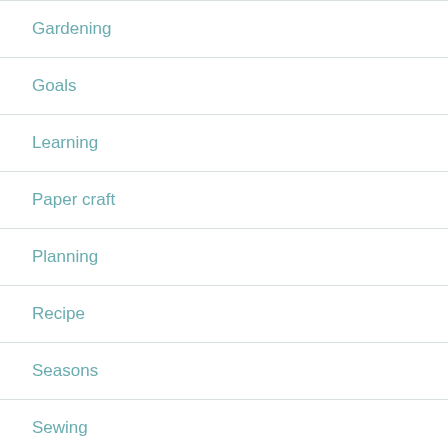Gardening
Goals
Learning
Paper craft
Planning
Recipe
Seasons
Sewing
Sewing for my self